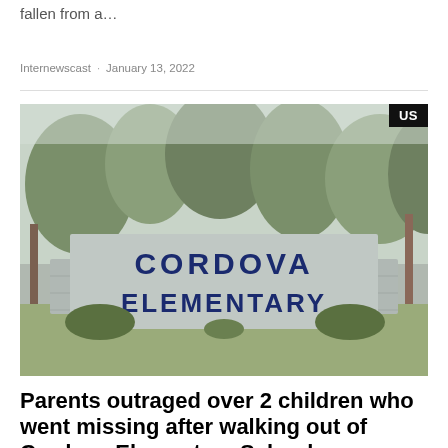fallen from a…
Internewscast · January 13, 2022
[Figure (photo): Photograph of the Cordova Elementary school sign — a brick monument sign with 'CORDOVA ELEMENTARY' in dark blue letters, surrounded by trees and shrubs. A black 'US' badge appears in the top-right corner of the image.]
Parents outraged over 2 children who went missing after walking out of Cordova Elementary School…